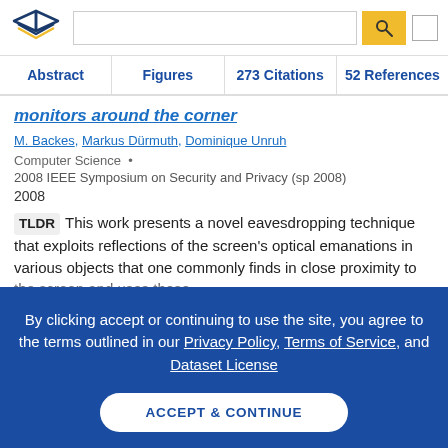[Figure (logo): Semantic Scholar logo - stylized book pages icon with gold and navy colors]
Abstract | Figures | 273 Citations | 52 References
monitors around the corner
M. Backes, Markus Dürmuth, Dominique Unruh
Computer Science  •
2008 IEEE Symposium on Security and Privacy (sp 2008)
2008
TLDR  This work presents a novel eavesdropping technique that exploits reflections of the screen's optical emanations in various objects that one commonly finds in close proximity to the screen and uses those
By clicking accept or continuing to use the site, you agree to the terms outlined in our Privacy Policy, Terms of Service, and Dataset License